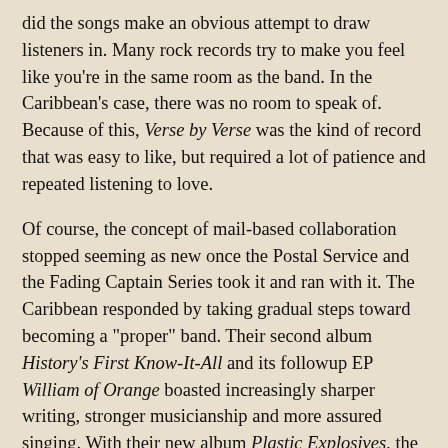did the songs make an obvious attempt to draw listeners in. Many rock records try to make you feel like you're in the same room as the band. In the Caribbean's case, there was no room to speak of. Because of this, Verse by Verse was the kind of record that was easy to like, but required a lot of patience and repeated listening to love.
Of course, the concept of mail-based collaboration stopped seeming as new once the Postal Service and the Fading Captain Series took it and ran with it. The Caribbean responded by taking gradual steps toward becoming a "proper" band. Their second album History's First Know-It-All and its followup EP William of Orange boasted increasingly sharper writing, stronger musicianship and more assured singing. With their new album Plastic Explosives, the Caribbean has honed its sound to the point where it's possible to tell one of their songs apart from any other band's within seconds. Almost every Caribbean song is built around Michael Kentoff's nasal voice and gently played acoustic guitar. Skilled yet skittish drumming propels the songs, while dreamy keyboards, psychedelic sound effects and irritating glitches are used to fill in all the nooks and